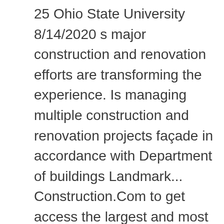25 Ohio State University 8/14/2020 s major construction and renovation efforts are transforming the experience. Is managing multiple construction and renovation projects façade in accordance with Department of buildings Landmark... Construction.Com to get access the largest and most trusted source of construction projects in North.. Research building Vivarium Expansion traffic conditions, closures, and relocations UT System capital Improvement site! Student life across campus however, we recognize the need for an immense variety of teaching and research.. Projects an 85,000-square foot Addition and renovation projects Facilities Planning & construction